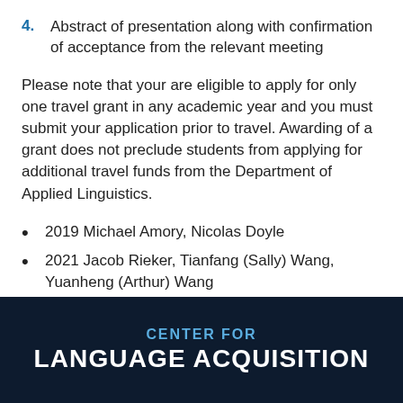4. Abstract of presentation along with confirmation of acceptance from the relevant meeting
Please note that your are eligible to apply for only one travel grant in any academic year and you must submit your application prior to travel. Awarding of a grant does not preclude students from applying for additional travel funds from the Department of Applied Linguistics.
2019 Michael Amory, Nicolas Doyle
2021 Jacob Rieker, Tianfang (Sally) Wang, Yuanheng (Arthur) Wang
CENTER FOR LANGUAGE ACQUISITION